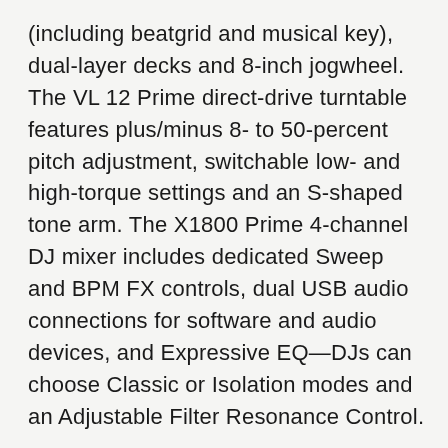(including beatgrid and musical key), dual-layer decks and 8-inch jogwheel. The VL 12 Prime direct-drive turntable features plus/minus 8- to 50-percent pitch adjustment, switchable low- and high-torque settings and an S-shaped tone arm. The X1800 Prime 4-channel DJ mixer includes dedicated Sweep and BPM FX controls, dual USB audio connections for software and audio devices, and Expressive EQ—DJs can choose Classic or Isolation modes and an Adjustable Filter Resonance Control.